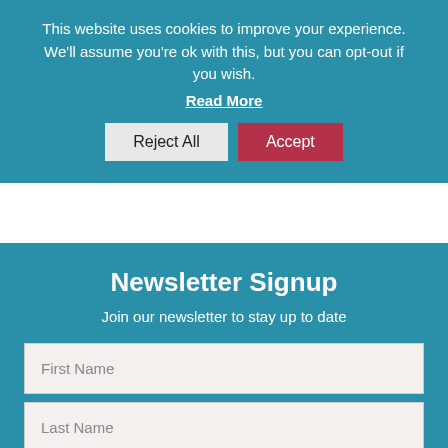This website uses cookies to improve your experience. We'll assume you're ok with this, but you can opt-out if you wish.
Read More
Reject All
Accept
Newsletter Signup
Join our newsletter to stay up to date
First Name
Last Name